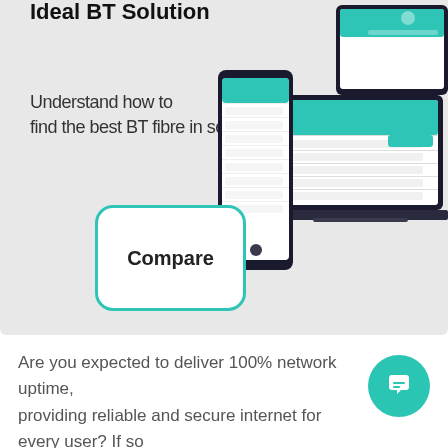Ideal BT Solution
Understand how to find the best BT fibre in seconds
[Figure (screenshot): Screenshots of a comparison website shown on phone, desktop and tablet devices with teal/green header and a list of broadband providers]
Compare
[Figure (other): Teal circular chat bubble / support icon]
Are you expected to deliver 100% network uptime, providing reliable and secure internet for every user? If so